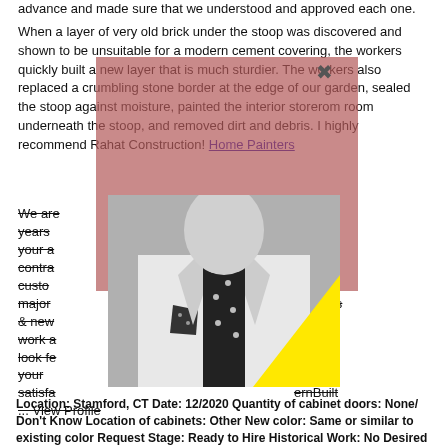advance and made sure that we understood and approved each one. When a layer of very old brick under the stoop was discovered and shown to be unsuitable for a modern cement covering, the workers quickly built a new layer that is much sturdier. The workers also replaced a crumbling stone border at the edge of our garden, sealed the stoop against moisture, painted the interior storerom room underneath the stoop, and removed dirt and debris. I highly recommend Rahat Construction! Home Painters
We are ... -years ... treats your a... eneral contra... custo... n major... ments & new... of our work a... We look fe... ntee your satisfa... ...ernBuilt ... View Profile
[Figure (photo): Black and white photo of a man in a suit with a polka dot tie and pocket square, with a large yellow triangle overlay in the lower right portion of the image. The photo is overlaid on a dusty rose/salmon colored background box.]
Location: Stamford, CT Date: 12/2020 Quantity of cabinet doors: None/ Don't Know Location of cabinets: Other New color: Same or similar to existing color Request Stage: Ready to Hire Historical Work: No Desired Completion Date: Timing is flexible